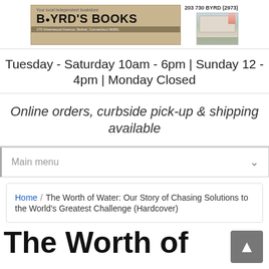[Figure (logo): Byrd's Books logo banner with tagline 'Your local independent bookstore', phone number '203 730 BYRD (2973)', address '175 Greenwood Avenue, Bethel, Connecticut 06801', and a photo of the bookstore exterior]
Tuesday - Saturday 10am - 6pm | Sunday 12 - 4pm | Monday Closed
Online orders, curbside pick-up & shipping available
Main menu
Home / The Worth of Water: Our Story of Chasing Solutions to the World's Greatest Challenge (Hardcover)
The Worth of Wate...